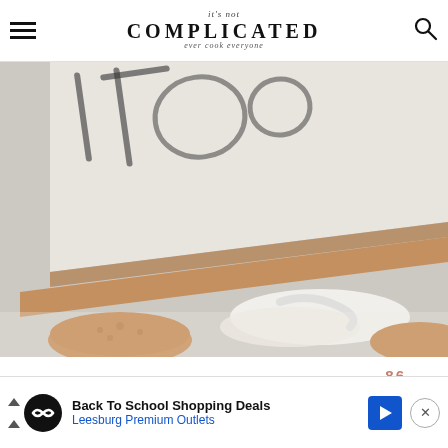it's not COMPLICATED — ever cook everyone
[Figure (photo): Close-up photo of stacked white and wooden cutting boards with cookies visible in the foreground]
86
[Figure (other): Heart (favorite) button and search button UI elements]
[Figure (other): Advertisement banner: Back To School Shopping Deals — Leesburg Premium Outlets]